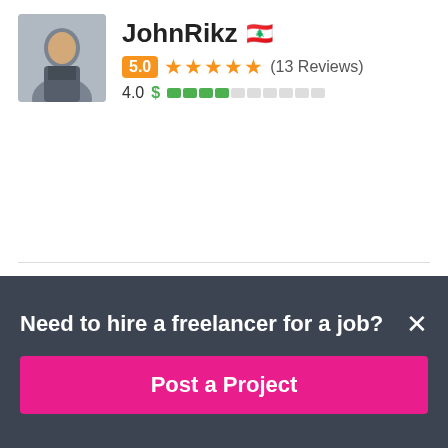JohnRikz 🇱🇧
5.0 ★★★★★ (13 Reviews)
4.0 $ ████░░░░░░
AccountantArman 🇵🇰
$55 USD in 1 day
5.0 ★★★★★ (3 Reviews)
3.2 $ ███░░░░░░░
Need to hire a freelancer for a job?
Post a Project